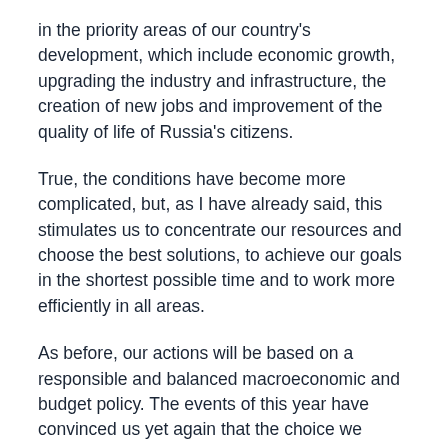in the priority areas of our country's development, which include economic growth, upgrading the industry and infrastructure, the creation of new jobs and improvement of the quality of life of Russia's citizens.
True, the conditions have become more complicated, but, as I have already said, this stimulates us to concentrate our resources and choose the best solutions, to achieve our goals in the shortest possible time and to work more efficiently in all areas.
As before, our actions will be based on a responsible and balanced macroeconomic and budget policy. The events of this year have convinced us yet again that the choice we made many years ago is the right one.
Despite the complicated external situation, in the first eight months of the year the federal budget showed a net surplus of over 900 billion rubles, which accounts for 2 percent